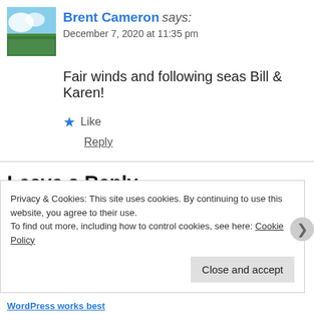Brent Cameron says: December 7, 2020 at 11:35 pm
Fair winds and following seas Bill & Karen!
★ Like
Reply
Leave a Reply
Your email address will not be published. Required fields are m
Privacy & Cookies: This site uses cookies. By continuing to use this website, you agree to their use.
To find out more, including how to control cookies, see here: Cookie Policy
Close and accept
WordPress works best